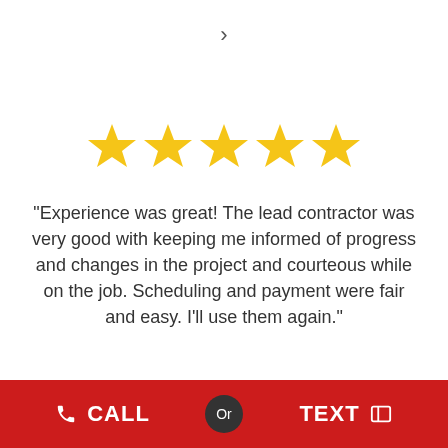[Figure (other): Right navigation arrow chevron]
[Figure (other): Five gold stars rating]
“Experience was great! The lead contractor was very good with keeping me informed of progress and changes in the project and courteous while on the job. Scheduling and payment were fair and easy. I’ll use them again.”
Jeremy E.
CALL  Or  TEXT